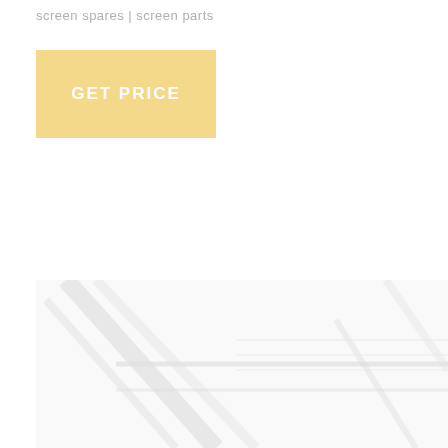screen spares | screen parts
GET PRICE
[Figure (photo): Industrial screening equipment or machinery components, faded/washed out photograph showing structural metal frames and parts]